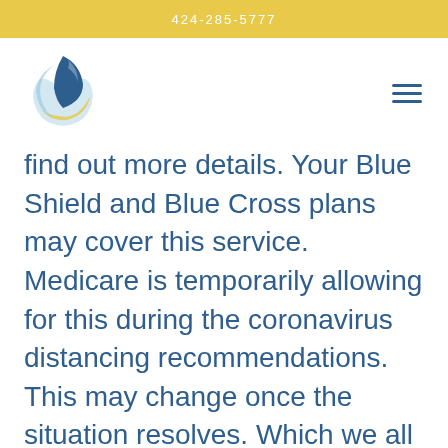424-285-5777
[Figure (logo): Circular logo with dark blue, light blue, and yellow swoosh shapes]
find out more details. Your Blue Shield and Blue Cross plans may cover this service. Medicare is temporarily allowing for this during the coronavirus distancing recommendations. This may change once the situation resolves. Which we all hope is very soon, until then, we are here for you (virtually).